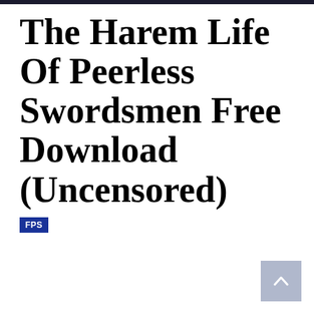The Harem Life Of Peerless Swordsmen Free Download (Uncensored)
FPS